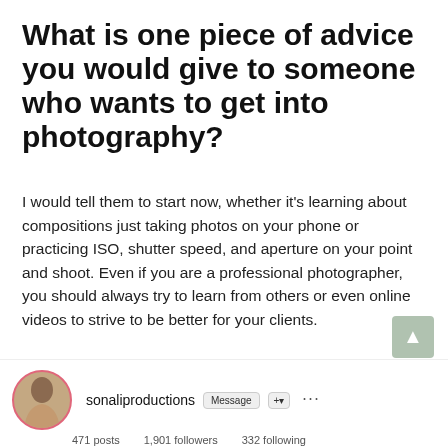What is one piece of advice you would give to someone who wants to get into photography?
I would tell them to start now, whether it's learning about compositions just taking photos on your phone or practicing ISO, shutter speed, and aperture on your point and shoot. Even if you are a professional photographer, you should always try to learn from others or even online videos to strive to be better for your clients.
Follow Sonali along on her Sonali Productions Photography Page, her Youtube Channel, or her Blog Instagram!
[Figure (screenshot): Instagram profile screenshot showing username sonaliproductions with Message and follow buttons, displaying 471 posts, 1,901 followers, 332 following stats, and a circular profile photo of a woman]